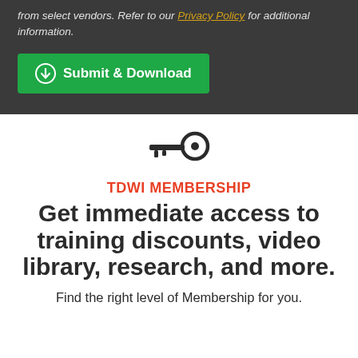from select vendors. Refer to our Privacy Policy for additional information.
[Figure (other): Green Submit & Download button with download icon]
[Figure (other): Key icon (outline illustration of a key)]
TDWI MEMBERSHIP
Get immediate access to training discounts, video library, research, and more.
Find the right level of Membership for you.